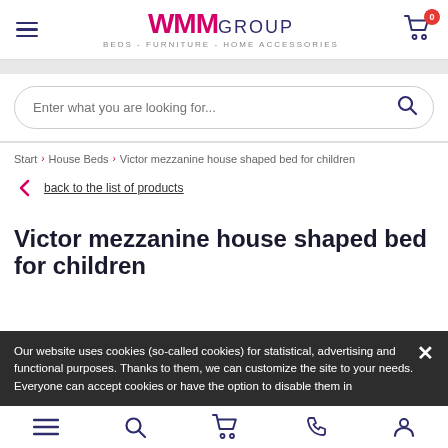WMM GROUP — BEDS - FURNITURE - HOME ACCESSORIES
Enter what you are looking for...
Start › House Beds › Victor mezzanine house shaped bed for children
back to the list of products
Victor mezzanine house shaped bed for children
Our website uses cookies (so-called cookies) for statistical, advertising and functional purposes. Thanks to them, we can customize the site to your needs. Everyone can accept cookies or have the option to disable them in
Bottom navigation bar with menu, search, cart, phone, and account icons